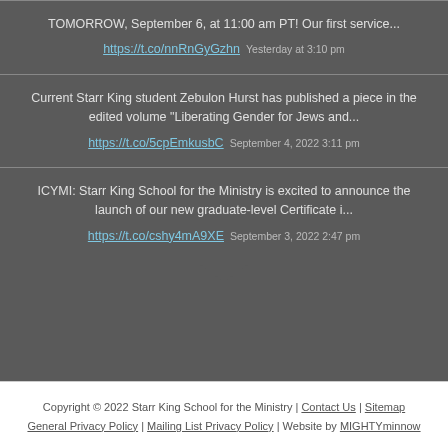TOMORROW, September 6, at 11:00 am PT! Our first service... https://t.co/nnRnGyGzhn Yesterday at 3:10 pm
Current Starr King student Zebulon Hurst has published a piece in the edited volume "Liberating Gender for Jews and... https://t.co/5cpEmkusbC September 4, 2022 3:11 pm
ICYMI: Starr King School for the Ministry is excited to announce the launch of our new graduate-level Certificate i... https://t.co/cshy4mA9XE September 3, 2022 2:47 pm
Copyright © 2022 Starr King School for the Ministry | Contact Us | Sitemap General Privacy Policy | Mailing List Privacy Policy | Website by MIGHTYminnow